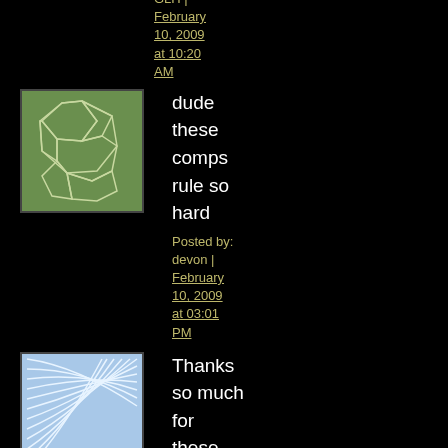GLH | February 10, 2009 at 10:20 AM
[Figure (illustration): Green avatar with geometric polygon/voronoi pattern]
dude these comps rule so hard
Posted by: devon | February 10, 2009 at 03:01 PM
[Figure (illustration): Blue avatar with curved concentric lines pattern]
Thanks so much for these comps - realise how time